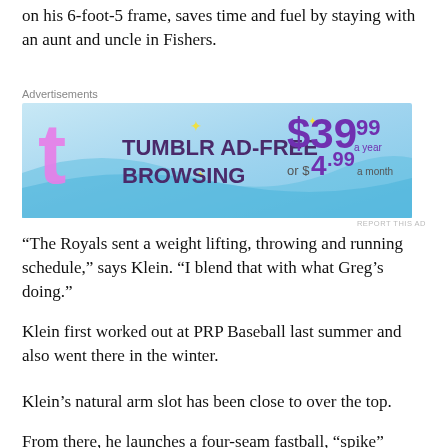on his 6-foot-5 frame, saves time and fuel by staying with an aunt and uncle in Fishers.
[Figure (screenshot): Tumblr Ad-Free Browsing advertisement banner: $39.99 a year or $4.99 a month]
“The Royals sent a weight lifting, throwing and running schedule,” says Klein. “I blend that with what Greg’s doing.”
Klein first worked out at PRP Baseball last summer and also went there in the winter.
Klein’s natural arm slot has been close to over the top.
From there, he launches a four-seam fastball, “spike” curveba
[Figure (screenshot): Base 2 advertisement: Fewer meetings, more work.]